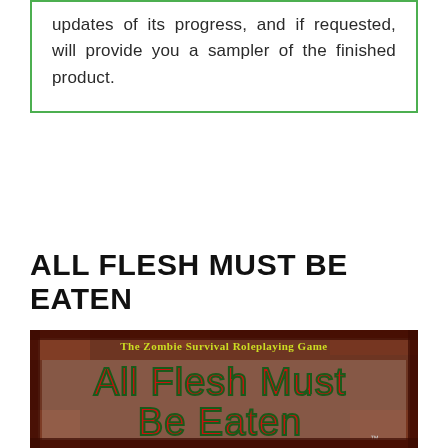updates of its progress, and if requested, will provide you a sampler of the finished product.
ALL FLESH MUST BE EATEN
[Figure (photo): Book cover of 'All Flesh Must Be Eaten: The Zombie Survival Roleplaying Game' showing stylized bloody text on a dark red/brown textured background.]